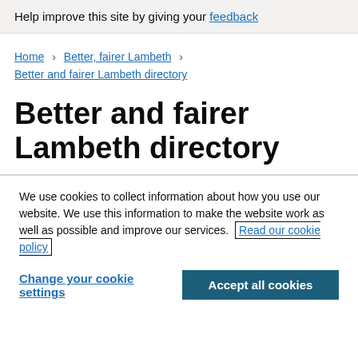Help improve this site by giving your feedback
Home > Better, fairer Lambeth > Better and fairer Lambeth directory
Better and fairer Lambeth directory
We use cookies to collect information about how you use our website. We use this information to make the website work as well as possible and improve our services. Read our cookie policy
Change your cookie settings | Accept all cookies